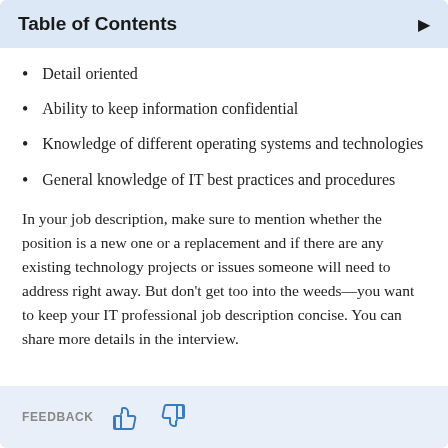Table of Contents
Detail oriented
Ability to keep information confidential
Knowledge of different operating systems and technologies
General knowledge of IT best practices and procedures
In your job description, make sure to mention whether the position is a new one or a replacement and if there are any existing technology projects or issues someone will need to address right away. But don’t get too into the weeds—you want to keep your IT professional job description concise. You can share more details in the interview.
FEEDBACK